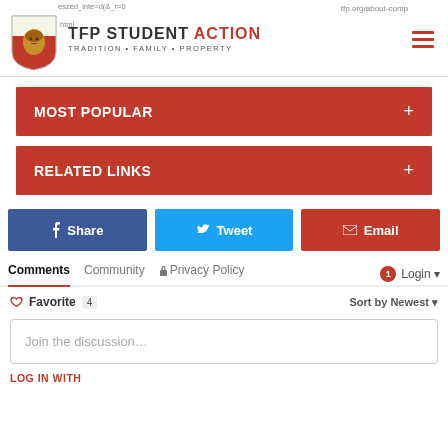[Figure (logo): TFP Student Action logo with shield and lion, text reads TFP STUDENT ACTION, TRADITION • FAMILY • PROPERTY]
MOST POPULAR
RELATED LINKS
Share   Tweet   Email
Comments   Community   Privacy Policy   Login
♡ Favorite 4   Sort by Newest
Join the discussion…
LOG IN WITH